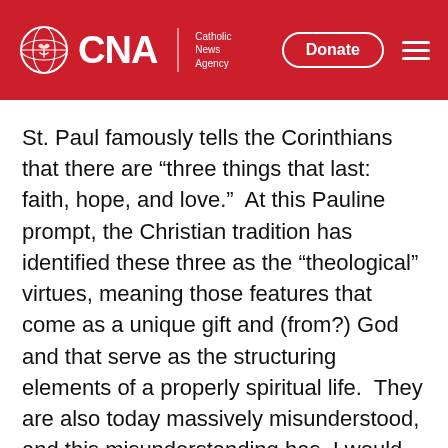CNA Catholic News Agency
St. Paul famously tells the Corinthians that there are “three things that last:  faith, hope, and love.”  At this Pauline prompt, the Christian tradition has identified these three as the “theological” virtues, meaning those features that come as a unique gift and (from?) God and that serve as the structuring elements of a properly spiritual life.  They are also today massively misunderstood, and this misunderstanding has, I would contend, contributed mightily to the dismissing of religion in many circles of our increasingly secularist society.